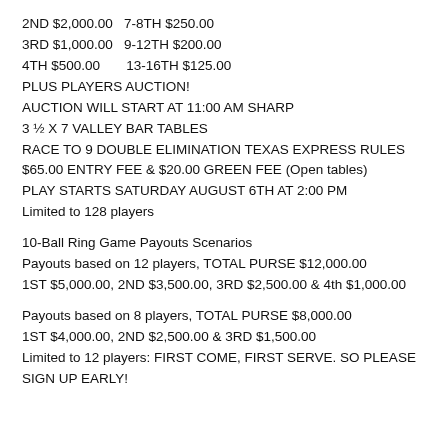2ND $2,000.00   7-8TH $250.00
3RD $1,000.00   9-12TH $200.00
4TH $500.00       13-16TH $125.00
PLUS PLAYERS AUCTION!
AUCTION WILL START AT 11:00 AM SHARP
3 ½ X 7 VALLEY BAR TABLES
RACE TO 9 DOUBLE ELIMINATION TEXAS EXPRESS RULES
$65.00 ENTRY FEE & $20.00 GREEN FEE (Open tables)
PLAY STARTS SATURDAY AUGUST 6TH AT 2:00 PM
Limited to 128 players
10-Ball Ring Game Payouts Scenarios
Payouts based on 12 players, TOTAL PURSE $12,000.00
1ST $5,000.00, 2ND $3,500.00, 3RD $2,500.00 & 4th $1,000.00
Payouts based on 8 players, TOTAL PURSE $8,000.00
1ST $4,000.00, 2ND $2,500.00 & 3RD $1,500.00
Limited to 12 players: FIRST COME, FIRST SERVE. SO PLEASE
SIGN UP EARLY!